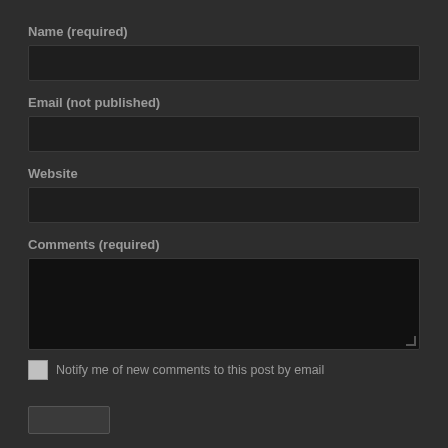Name (required)
[Figure (screenshot): Empty text input field for Name]
Email (not published)
[Figure (screenshot): Empty text input field for Email]
Website
[Figure (screenshot): Empty text input field for Website]
Comments (required)
[Figure (screenshot): Empty textarea for Comments]
Notify me of new comments to this post by email